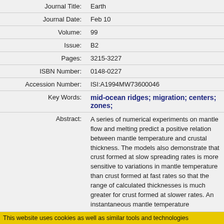| Journal Title: | Earth |
| Journal Date: | Feb 10 |
| Volume: | 99 |
| Issue: | B2 |
| Pages: | 3215-3227 |
| ISBN Number: | 0148-0227 |
| Accession Number: | ISI:A1994MW73600046 |
| Key Words: | mid-ocean ridges; migration; centers; zones; |
| Abstract: | A series of numerical experiments on mantle flow and melting predict a positive relation between mantle temperature and crustal thickness. The models also demonstrate that crust formed at slow spreading rates is more sensitive to variations in mantle temperature than crust formed at fast rates so that the range of calculated thicknesses is much greater for crust formed at slower rates. An instantaneous mantle temperature |
This website uses cookies as well as similar tools and technologies